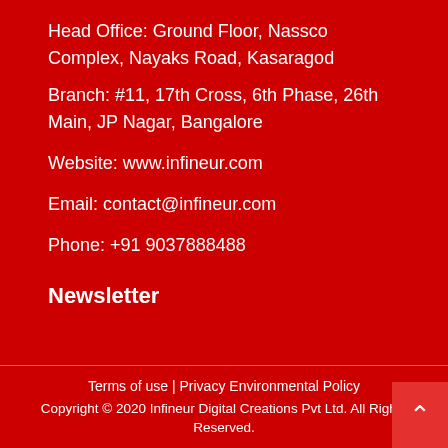Head Office: Ground Floor, Nassco Complex, Nayaks Road, Kasaragod
Branch: #11, 17th Cross, 6th Phase, 26th Main, JP Nagar, Bangalore
Website: www.infineur.com
Email: contact@infineur.com
Phone: +91 9037888488
Newsletter
Terms of use | Privacy Environmental Policy
Copyright © 2020 Infineur Digital Creations Pvt Ltd. All Rights Reserved.